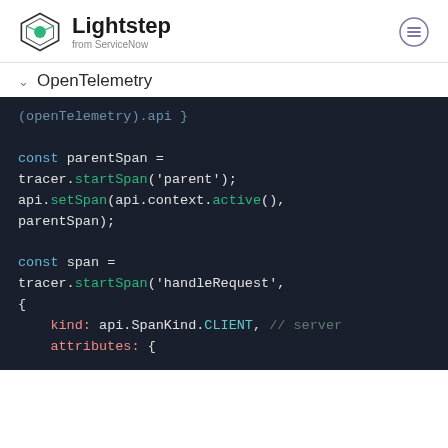[Figure (logo): Lightstep from ServiceNow logo with geometric diamond shape icon]
OpenTelemetry
const parentSpan = tracer.startSpan('parent');
api.setSpan(api.context.active(),
parentSpan);

const span =
tracer.startSpan('handleRequest',
{
    kind: api.SpanKind.CLIENT, // server
    attributes: {